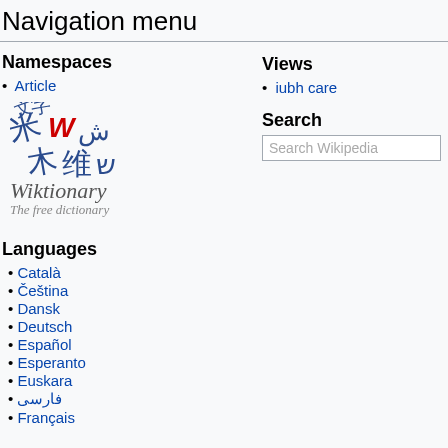Navigation menu
Namespaces
Article
[Figure (logo): Wiktionary logo with multilingual characters and text 'Wiktionary The free dictionary']
Views
iubh care
Search
Search Wikipedia
Languages
Català
Čeština
Dansk
Deutsch
Español
Esperanto
Euskara
فارسی
Français